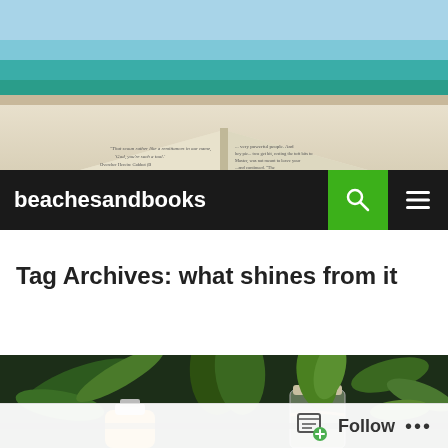[Figure (photo): Open book held up against a beach background with turquoise ocean water and sandy shore visible]
beachesandbooks
Tag Archives: what shines from it
[Figure (photo): Flat lay photo of green herbs, plants, an orange juice bottle and a mason jar with flowers on a dark surface]
Follow ...